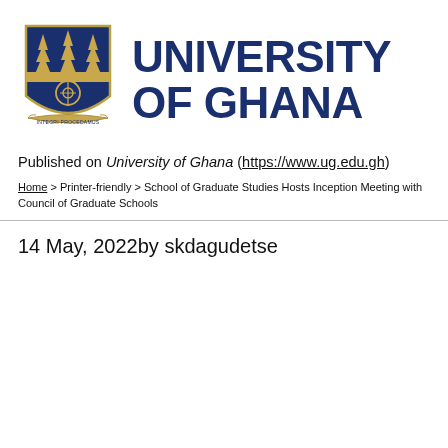[Figure (logo): University of Ghana coat of arms / shield logo with navy blue and gold colors, trees, Adinkra symbol, and motto banner]
UNIVERSITY OF GHANA
Published on University of Ghana (https://www.ug.edu.gh)
Home > Printer-friendly > School of Graduate Studies Hosts Inception Meeting with Council of Graduate Schools
14 May, 2022by skdagudetse